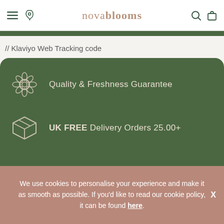novablooms
// Klaviyo Web Tracking code
[Figure (infographic): Dark green rounded card with two feature items: a flower/quality icon with 'Quality & Freshness Guarantee' text, and a box/package icon with 'UK FREE Delivery Orders 25.00+' text]
Stay in the l...
We use cookies to personalise your experience and make it as smooth as possible. If you'd like to read our cookie policy, it can be found here.